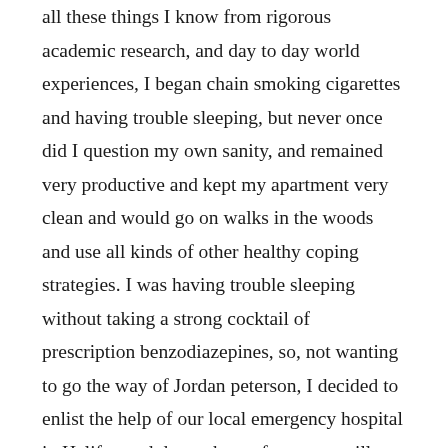all these things I know from rigorous academic research, and day to day world experiences, I began chain smoking cigarettes and having trouble sleeping, but never once did I question my own sanity, and remained very productive and kept my apartment very clean and would go on walks in the woods and use all kinds of other healthy coping strategies. I was having trouble sleeping without taking a strong cocktail of prescription benzodiazepines, so, not wanting to go the way of Jordan peterson, I decided to enlist the help of our local emergency hospital in Halifax and drove there of my own will, honestly wanting to obtain help I need and also try to fix the system where it is rotted- which I have studied academically at depth for many years.The mental health care system is corrupt to the core, which is rotted deeply by subversive scholasticism; the